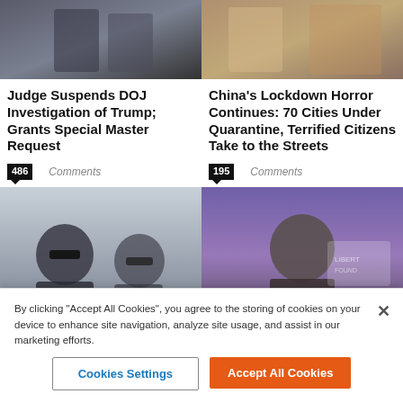[Figure (photo): Photo related to Trump DOJ article]
Judge Suspends DOJ Investigation of Trump; Grants Special Master Request
486 Comments
[Figure (photo): Photo related to China lockdown article]
China's Lockdown Horror Continues: 70 Cities Under Quarantine, Terrified Citizens Take to the Streets
195 Comments
[Figure (photo): Photo of two men wearing sunglasses, related to FBI/Biden article]
Reports: FBI/Biden Men...
[Figure (photo): Photo of man speaking at microphone on stage]
By clicking "Accept All Cookies", you agree to the storing of cookies on your device to enhance site navigation, analyze site usage, and assist in our marketing efforts.
Cookies Settings
Accept All Cookies